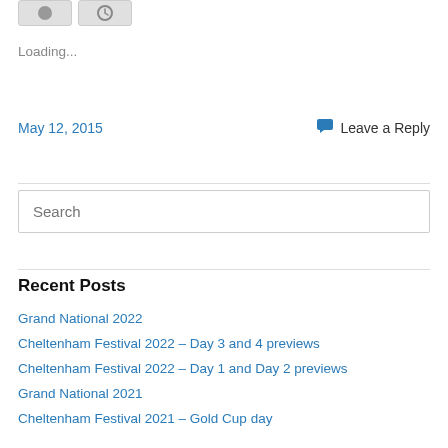Loading...
May 12, 2015
Leave a Reply
Search
Recent Posts
Grand National 2022
Cheltenham Festival 2022 – Day 3 and 4 previews
Cheltenham Festival 2022 – Day 1 and Day 2 previews
Grand National 2021
Cheltenham Festival 2021 – Gold Cup day